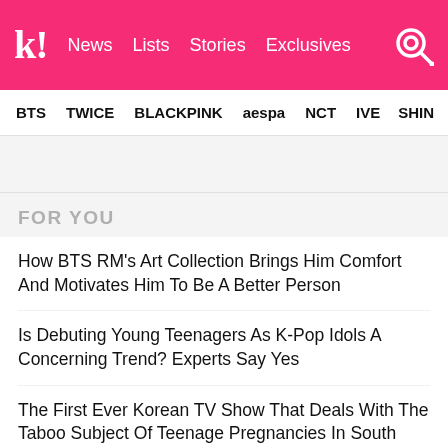k! News Lists Stories Exclusives
BTS TWICE BLACKPINK aespa NCT IVE SHIN
FOR YOU
How BTS RM's Art Collection Brings Him Comfort And Motivates Him To Be A Better Person
Is Debuting Young Teenagers As K-Pop Idols A Concerning Trend? Experts Say Yes
The First Ever Korean TV Show That Deals With The Taboo Subject Of Teenage Pregnancies In South Korea
Which K-Pop Idol Would Wear This, Except It's Literally SHINee's Key
Jun Debuts A New Hairstyle At SEVENTEEN's Toronto